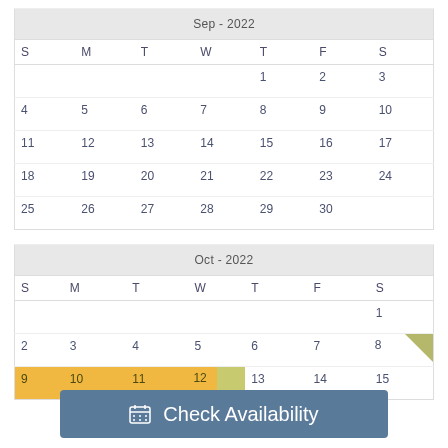| S | M | T | W | T | F | S |
| --- | --- | --- | --- | --- | --- | --- |
|  |  |  |  | 1 | 2 | 3 |
| 4 | 5 | 6 | 7 | 8 | 9 | 10 |
| 11 | 12 | 13 | 14 | 15 | 16 | 17 |
| 18 | 19 | 20 | 21 | 22 | 23 | 24 |
| 25 | 26 | 27 | 28 | 29 | 30 |  |
| S | M | T | W | T | F | S |
| --- | --- | --- | --- | --- | --- | --- |
|  |  |  |  |  |  | 1 |
| 2 | 3 | 4 | 5 | 6 | 7 | 8 |
| 9 | 10 | 11 | 12 | 13 | 14 | 15 |
Check Availability